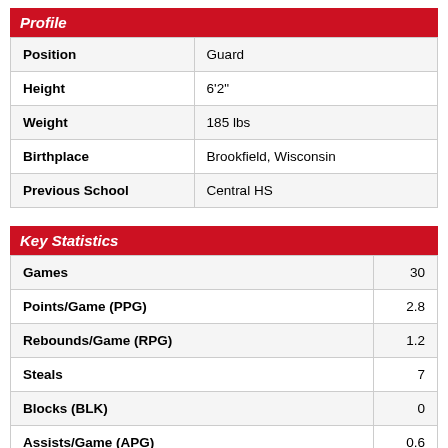Profile
| Position | Guard |
| Height | 6'2" |
| Weight | 185 lbs |
| Birthplace | Brookfield, Wisconsin |
| Previous School | Central HS |
Key Statistics
| Games | 30 |
| Points/Game (PPG) | 2.8 |
| Rebounds/Game (RPG) | 1.2 |
| Steals | 7 |
| Blocks (BLK) | 0 |
| Assists/Game (APG) | 0.6 |